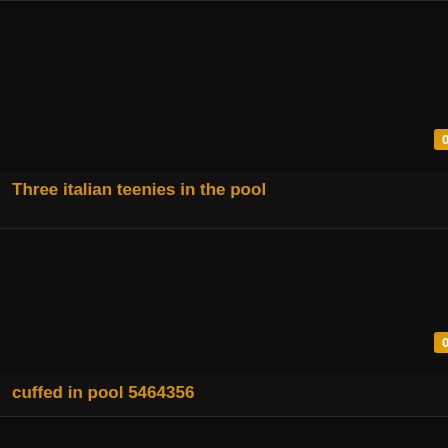[Figure (screenshot): Dark thumbnail area for video card 1]
05:41
Three italian teenies in the pool
[Figure (screenshot): Dark thumbnail area for video card 2]
07:54
cuffed in pool 5464356
[Figure (screenshot): Dark thumbnail area for video card 3 (partial)]